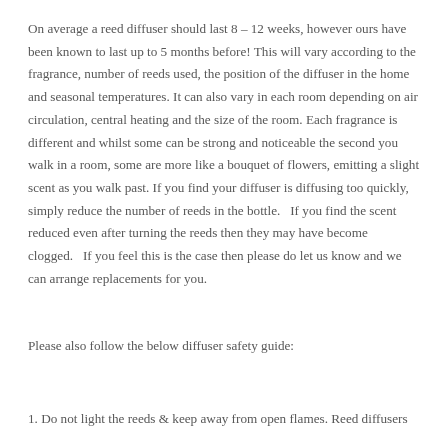On average a reed diffuser should last 8 – 12 weeks, however ours have been known to last up to 5 months before! This will vary according to the fragrance, number of reeds used, the position of the diffuser in the home and seasonal temperatures. It can also vary in each room depending on air circulation, central heating and the size of the room. Each fragrance is different and whilst some can be strong and noticeable the second you walk in a room, some are more like a bouquet of flowers, emitting a slight scent as you walk past. If you find your diffuser is diffusing too quickly, simply reduce the number of reeds in the bottle.   If you find the scent reduced even after turning the reeds then they may have become clogged.   If you feel this is the case then please do let us know and we can arrange replacements for you.
Please also follow the below diffuser safety guide:
1. Do not light the reeds & keep away from open flames. Reed diffusers